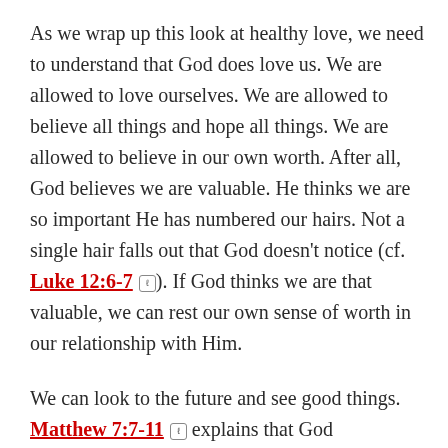As we wrap up this look at healthy love, we need to understand that God does love us. We are allowed to love ourselves. We are allowed to believe all things and hope all things. We are allowed to believe in our own worth. After all, God believes we are valuable. He thinks we are so important He has numbered our hairs. Not a single hair falls out that God doesn't notice (cf. Luke 12:6-7). If God thinks we are that valuable, we can rest our own sense of worth in our relationship with Him.
We can look to the future and see good things. Matthew 7:7-11 explains that God